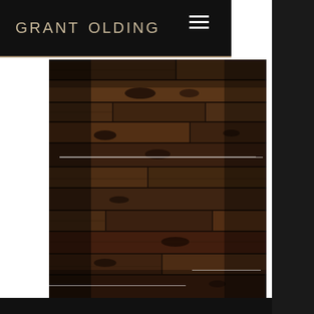GRANT OLDING
[Figure (photo): Dark wood plank texture background image, filling the main content area with dark brown wooden boards showing grain and knots, with two white horizontal decorative lines overlaid]
[Figure (photo): Partial view of second dark wood texture photo at the very bottom of the page]